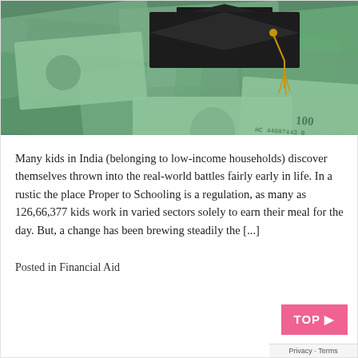[Figure (photo): US dollar bills spread out with a graduation cap (mortarboard with gold tassel) placed on top of the money]
Many kids in India (belonging to low-income households) discover themselves thrown into the real-world battles fairly early in life. In a rustic the place Proper to Schooling is a regulation, as many as 126,66,377 kids work in varied sectors solely to earn their meal for the day. But, a change has been brewing steadily the [...]
Posted in Financial Aid